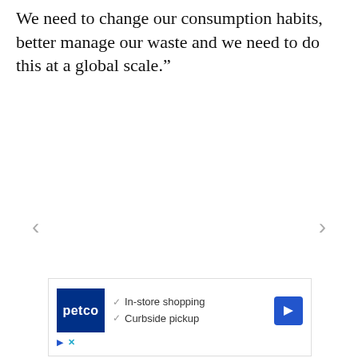We need to change our consumption habits, better manage our waste and we need to do this at a global scale.”
[Figure (other): Navigation arrows (left and right chevrons) for a slideshow or carousel]
[Figure (other): Advertisement for Petco showing logo, checkmarks for In-store shopping and Curbside pickup, a navigation arrow icon, and ad controls (play and close buttons)]